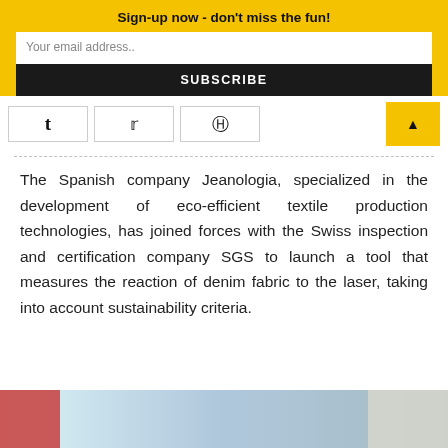Sign-up now - don't miss the fun!
Your email address..
SUBSCRIBE
[Figure (other): Social media share buttons: Tumblr, Twitter, Pinterest icons in bordered boxes, and a yellow arrow/up button]
The Spanish company Jeanologia, specialized in the development of eco-efficient textile production technologies, has joined forces with the Swiss inspection and certification company SGS to launch a tool that measures the reaction of denim fabric to the laser, taking into account sustainability criteria.
[Figure (photo): Bottom strip showing partial photo of people working with equipment]